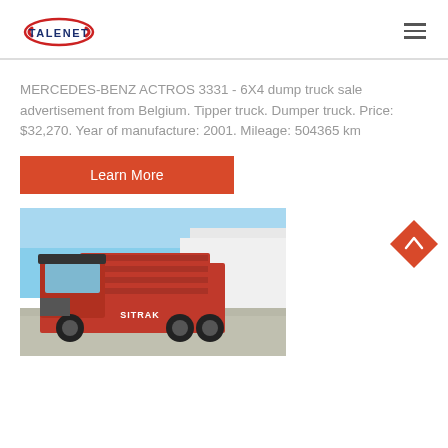[Figure (logo): TALENET company logo with red oval swoosh and blue text]
MERCEDES-BENZ ACTROS 3331 - 6X4 dump truck sale advertisement from Belgium. Tipper truck. Dumper truck. Price: $32,270. Year of manufacture: 2001. Mileage: 504365 km
Learn More
[Figure (photo): Red dump truck (SITRAK) parked in front of a white industrial building under blue sky]